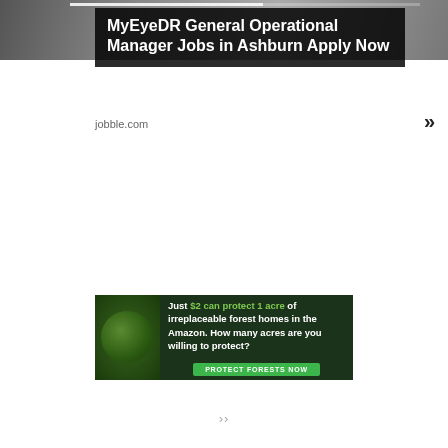[Figure (photo): Top banner photo strip with blurred background image, overlaid with dark banner containing job ad title]
MyEyeDR General Operational Manager Jobs in Ashburn Apply Now
jobble.com
[Figure (infographic): Amazon forest conservation ad with dark green background, animal image on left, bold white text reading 'Just $2 can protect 1 acre of irreplaceable forest homes in the Amazon. How many acres are you willing to protect?' and a green 'PROTECT FORESTS NOW' button]